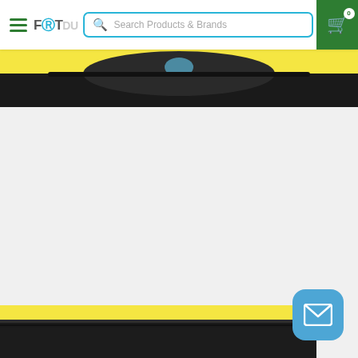[Figure (screenshot): E-commerce website header with hamburger menu, FETDU logo, search bar reading 'Search Products & Brands', and green shopping cart button with badge showing 0]
[Figure (photo): Top product image strip showing a dark product with yellow background partially visible]
[Figure (photo): Main content area - light grey loading/empty area]
[Figure (photo): Bottom product image strip showing dark product with yellow accent on black background]
[Figure (other): Blue rounded square email/message button in bottom right corner]